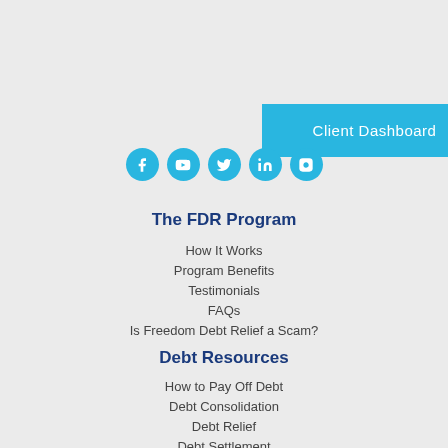Client Dashboard
[Figure (other): Social media icons row: Facebook, YouTube, Twitter, LinkedIn, Instagram — all in sky-blue circles]
The FDR Program
How It Works
Program Benefits
Testimonials
FAQs
Is Freedom Debt Relief a Scam?
Debt Resources
How to Pay Off Debt
Debt Consolidation
Debt Relief
Debt Settlement